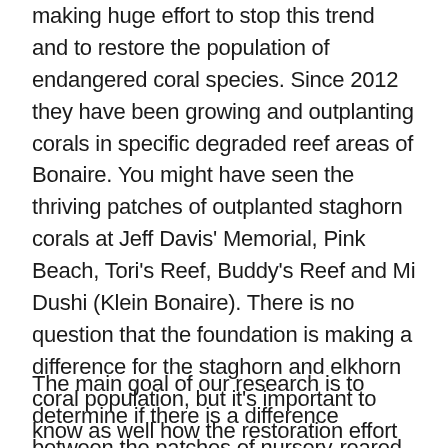making huge effort to stop this trend and to restore the population of endangered coral species. Since 2012 they have been growing and outplanting corals in specific degraded reef areas of Bonaire. You might have seen the thriving patches of outplanted staghorn corals at Jeff Davis' Memorial, Pink Beach, Tori's Reef, Buddy's Reef and Mi Dushi (Klein Bonaire). There is no question that the foundation is making a difference for the staghorn and elkhorn coral population, but it's important to know as well how the restoration effort is affecting the entire reef ecosystem and the other marine creatures living in it. That's where we come in.
The main goal of our research is to determine if there is a difference between the patches of nursery-reared staghorn